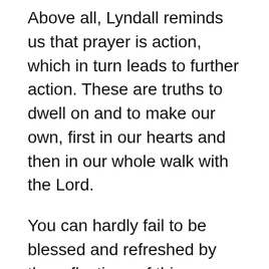Above all, Lyndall reminds us that prayer is action, which in turn leads to further action. These are truths to dwell on and to make our own, first in our hearts and then in our whole walk with the Lord.
You can hardly fail to be blessed and refreshed by the reflections of this woman of God who I was privileged to get to know well during our sojourn in Canterbury.
This page on her website says a little more about why he wrote it, as well as